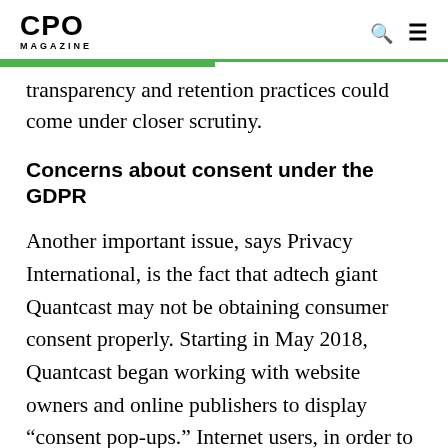CPO MAGAZINE
transparency and retention practices could come under closer scrutiny.
Concerns about consent under the GDPR
Another important issue, says Privacy International, is the fact that adtech giant Quantcast may not be obtaining consumer consent properly. Starting in May 2018, Quantcast began working with website owners and online publishers to display “consent pop-ups.” Internet users, in order to continue using these sites, must click a giant blue button that